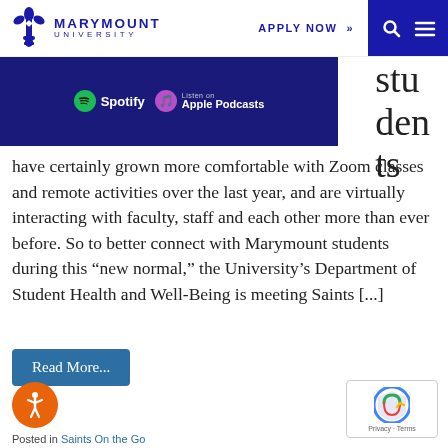MARYMOUNT UNIVERSITY | APPLY NOW >
[Figure (screenshot): Dark navy blue banner showing Spotify and Apple Podcasts logos/badges]
students have certainly grown more comfortable with Zoom classes and remote activities over the last year, and are virtually interacting with faculty, staff and each other more than ever before. So to better connect with Marymount students during this “new normal,” the University’s Department of Student Health and Well-Being is meeting Saints [...]
Read More...
Posted in Saints On the Go